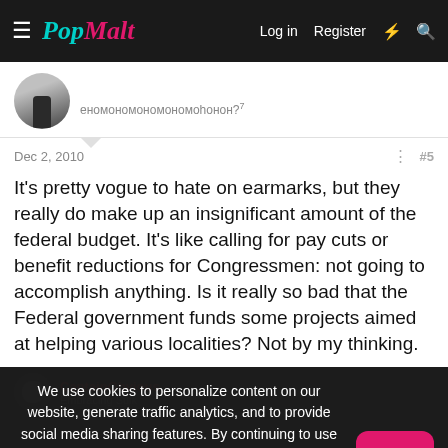PopMalt — Log in  Register
[Figure (screenshot): Partial user profile avatar (grayscale photo, person standing)]
eномономономономономономономономноno h он?
Dec 2, 2010   #5
It's pretty vogue to hate on earmarks, but they really do make up an insignificant amount of the federal budget. It's like calling for pay cuts or benefit reductions for Congressmen: not going to accomplish anything. Is it really so bad that the Federal government funds some projects aimed at helping various localities? Not by my thinking.
We use cookies to personalize content on our website, generate traffic analytics, and to provide social media sharing features. By continuing to use this website or by closing this message, you consent to our use of cookies. To find out more about how we use cookies, including how to change your cookie settings, read our privacy policy
CaptainObvious
Embracing Sulk
I agree wi...pletely against Earmarked. Certainly one could point to an example where